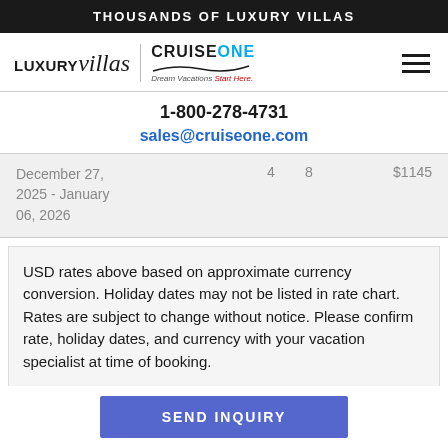THOUSANDS OF LUXURY VILLAS
[Figure (logo): LUXURYvillas | CruiseOne Dream Vacations Start Here logo with hamburger menu icon]
1-800-278-4731
sales@cruiseone.com
| Date |  |  | Price |
| --- | --- | --- | --- |
| December 27, 2025 - January 06, 2026 | 4 | 8 | $1145 |
USD rates above based on approximate currency conversion. Holiday dates may not be listed in rate chart. Rates are subject to change without notice. Please confirm rate, holiday dates, and currency with your vacation specialist at time of booking.
SEND INQUIRY